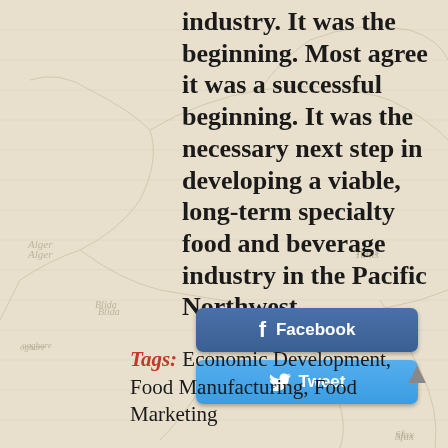[Figure (map): Vintage-style map background showing North Africa region including Algeria and Tunisia with place names like Alger, Blida, Tunis, Biskra, Sfax, Laghouat, Touggoourt, Ouled, Temapha, Kharday, Medenine, Zara, Naloue]
industry. It was the beginning. Most agree it was a successful beginning. It was the necessary next step in developing a viable, long-term specialty food and beverage industry in the Pacific Northwest.
Facebook
Tweet
Tags: Economic Development, Food Manufacturing, Food Marketing